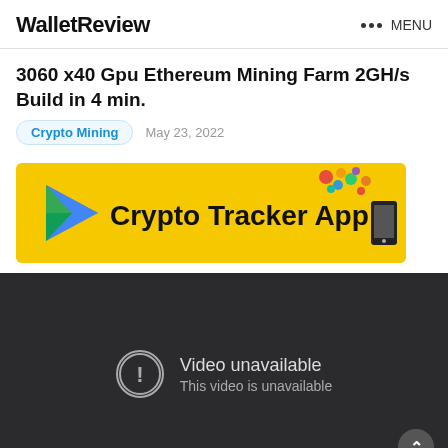WalletReview  ••• MENU
3060 x40 Gpu Ethereum Mining Farm 2GH/s Build in 4 min.
Crypto Mining   May 23, 2022
[Figure (other): Crypto Tracker App advertisement banner with yellow background, Google Play style triangle logo on the left, bold text 'Crypto Tracker App', and coin/phone graphics on the right]
[Figure (screenshot): Embedded YouTube-style video player with dark background showing 'Video unavailable / This video is unavailable' message with a circle exclamation icon]